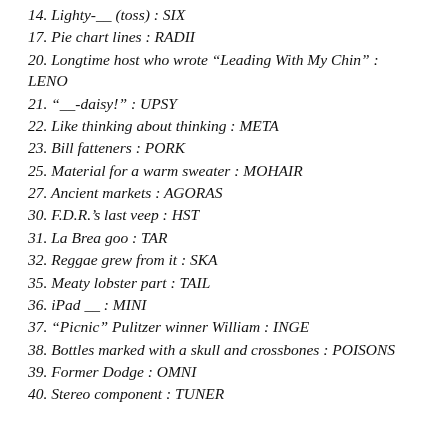14. Lighty-__ (toss) : SIX
17. Pie chart lines : RADII
20. Longtime host who wrote “Leading With My Chin” : LENO
21. “__-daisy!” : UPSY
22. Like thinking about thinking : META
23. Bill fatteners : PORK
25. Material for a warm sweater : MOHAIR
27. Ancient markets : AGORAS
30. F.D.R.’s last veep : HST
31. La Brea goo : TAR
32. Reggae grew from it : SKA
35. Meaty lobster part : TAIL
36. iPad __ : MINI
37. “Picnic” Pulitzer winner William : INGE
38. Bottles marked with a skull and crossbones : POISONS
39. Former Dodge : OMNI
40. Stereo component : TUNER